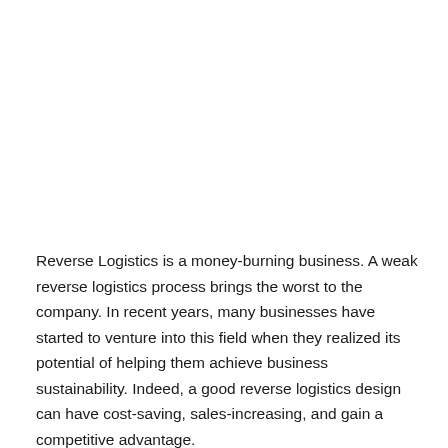Reverse Logistics is a money-burning business. A weak reverse logistics process brings the worst to the company. In recent years, many businesses have started to venture into this field when they realized its potential of helping them achieve business sustainability. Indeed, a good reverse logistics design can have cost-saving, sales-increasing, and gain a competitive advantage.
The design of the optimized reverse supply chain model is